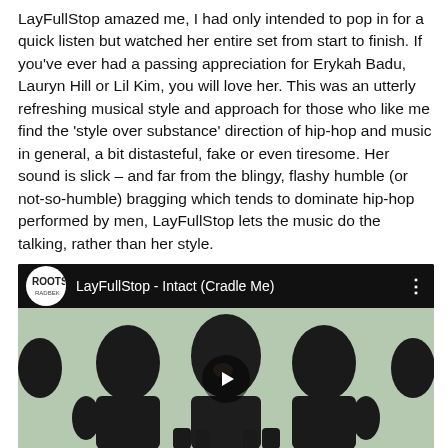LayFullStop amazed me, I had only intended to pop in for a quick listen but watched her entire set from start to finish. If you've ever had a passing appreciation for Erykah Badu, Lauryn Hill or Lil Kim, you will love her. This was an utterly refreshing musical style and approach for those who like me find the 'style over substance' direction of hip-hop and music in general, a bit distasteful, fake or even tiresome. Her sound is slick – and far from the blingy, flashy humble (or not-so-humble) bragging which tends to dominate hip-hop performed by men, LayFullStop lets the music do the talking, rather than her style.
[Figure (screenshot): YouTube video embed showing 'LayFullStop - Intact (Cradle Me)' with Roots Radber logo, black top bar with title, and video thumbnail showing silhouetted figures with a play button.]